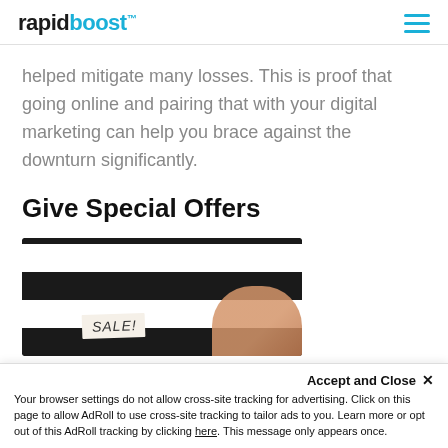rapidboost™
helped mitigate many losses. This is proof that going online and pairing that with your digital marketing can help you brace against the downturn significantly.
Give Special Offers
[Figure (photo): A hand writing 'SALE!' on a tag, placed on a striped black and white surface.]
Accept and Close ✕
Your browser settings do not allow cross-site tracking for advertising. Click on this page to allow AdRoll to use cross-site tracking to tailor ads to you. Learn more or opt out of this AdRoll tracking by clicking here. This message only appears once.